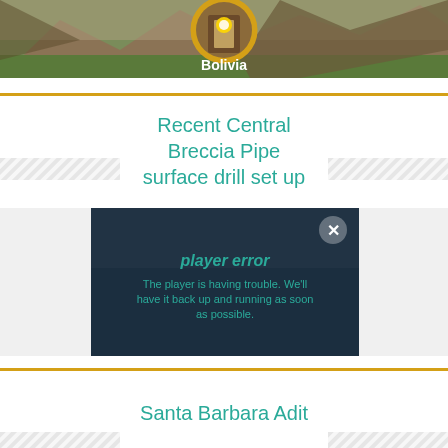[Figure (photo): Landscape photo of Bolivia with mountains, green fields, and a circular inset image of a stone doorway with sunlight. Text 'Bolivia' appears in white bold at the bottom center.]
Recent Central Breccia Pipe surface drill set up
[Figure (screenshot): Video player showing error message: 'player error' and 'The player is having trouble. We'll have it back up and running as soon as possible.' with an X close button in top right corner. Video shows a landscape scene.]
Santa Barbara Adit